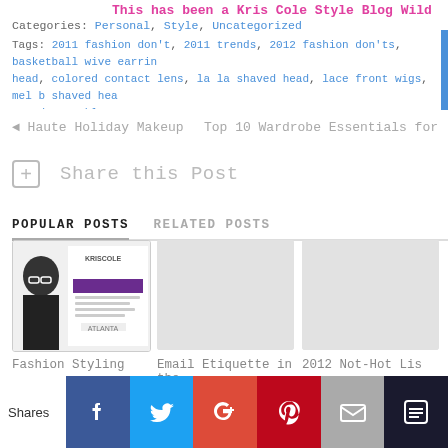Categories: Personal, Style, Uncategorized
Tags: 2011 fashion don't, 2011 trends, 2012 fashion don'ts, basketball wive earrings, colored contact lens, la la shaved head, lace front wigs, mel b shaved head, trend, sparkly pumps, Tamar Braxton
◄ Haute Holiday Makeup    Top 10 Wardrobe Essentials for
Share this Post
POPULAR POSTS    RELATED POSTS
[Figure (photo): Fashion Styling post thumbnail showing woman in hat and glasses with Kris Cole Style Academy flyer]
[Figure (photo): Email Etiquette post thumbnail - blank gray image]
[Figure (photo): 2012 Not-Hot List post thumbnail - blank gray image]
Fashion Styling
Email Etiquette in the
2012 Not-Hot Lis
Shares